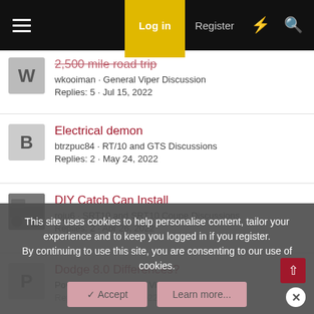Log in | Register
2,500 mile road trip · wkooiman · General Viper Discussion · Replies: 5 · Jul 15, 2022
Electrical demon · btrzpuc84 · RT/10 and GTS Discussions · Replies: 2 · May 24, 2022
DIY Catch Can Install · roju6 · SRT10 and SRT10 Coupe Discussions · Replies: 2 · Apr 26, 2022
Dodge 8.0 Differences? · PovertyPony · General Viper Discussion · Replies: 3 · May 10, 2022
This site uses cookies to help personalise content, tailor your experience and to keep you logged in if you register. By continuing to use this site, you are consenting to our use of cookies.